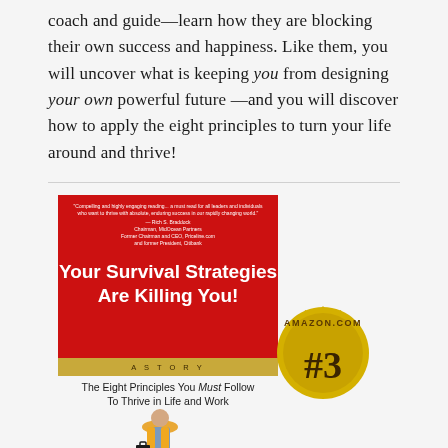coach and guide—learn how they are blocking their own success and happiness. Like them, you will uncover what is keeping you from designing your own powerful future —and you will discover how to apply the eight principles to turn your life around and thrive!
[Figure (photo): Book cover of 'Your Survival Strategies Are Killing You! A Story: The Eight Principles You Must Follow To Thrive in Life and Work' with a red cover, gold banner, and an Amazon.com #3 bestseller seal. A person wearing a life vest and carrying a briefcase is shown on the lower portion of the cover.]